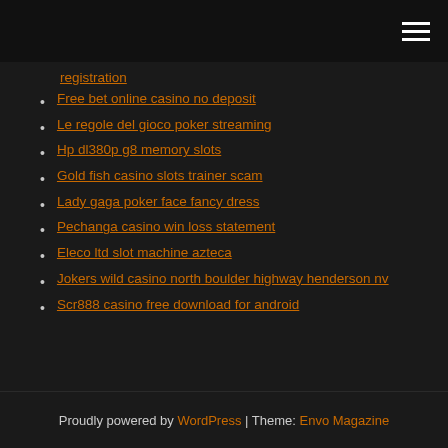registration
Free bet online casino no deposit
Le regole del gioco poker streaming
Hp dl380p g8 memory slots
Gold fish casino slots trainer scam
Lady gaga poker face fancy dress
Pechanga casino win loss statement
Eleco ltd slot machine azteca
Jokers wild casino north boulder highway henderson nv
Scr888 casino free download for android
Proudly powered by WordPress | Theme: Envo Magazine